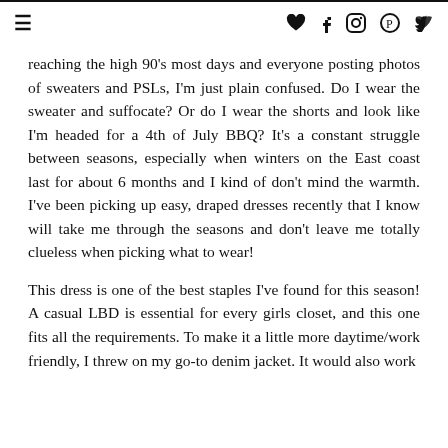≡  ♥ f ⊙ ⊕ ▶
reaching the high 90's most days and everyone posting photos of sweaters and PSLs, I'm just plain confused. Do I wear the sweater and suffocate? Or do I wear the shorts and look like I'm headed for a 4th of July BBQ? It's a constant struggle between seasons, especially when winters on the East coast last for about 6 months and I kind of don't mind the warmth. I've been picking up easy, draped dresses recently that I know will take me through the seasons and don't leave me totally clueless when picking what to wear!
This dress is one of the best staples I've found for this season! A casual LBD is essential for every girls closet, and this one fits all the requirements. To make it a little more daytime/work friendly, I threw on my go-to denim jacket. It would also work